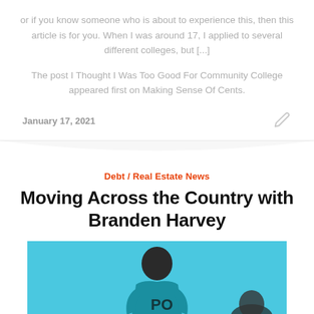or if you know someone who is about to experience this, then this article is for you. When I was around 17, I applied to several different colleges, but [...]
The post I Thought I Was Too Good For Community College appeared first on Making Sense Of Cents.
January 17, 2021
Debt / Real Estate News
Moving Across the Country with Branden Harvey
[Figure (photo): Person in front of a light blue background, partially visible, holding or wearing something with text 'PO' visible]